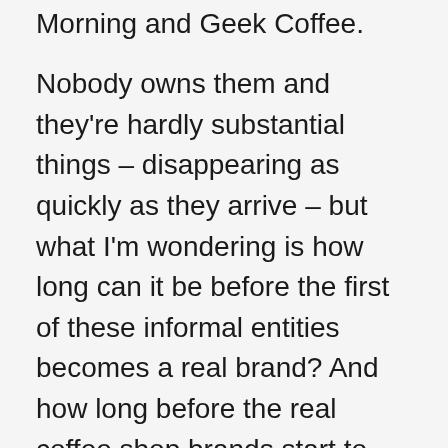Morning and Geek Coffee.
Nobody owns them and they're hardly substantial things – disappearing as quickly as they arrive – but what I'm wondering is how long can it be before the first of these informal entities becomes a real brand? And how long before the real coffee shop brands start to compete for the business of the virtual ones? After all, a weekly coffee morning is like a kind of giant, collective customer and the regular custom of one of these floating gatherings could be worth hundreds of pounds per meeting.